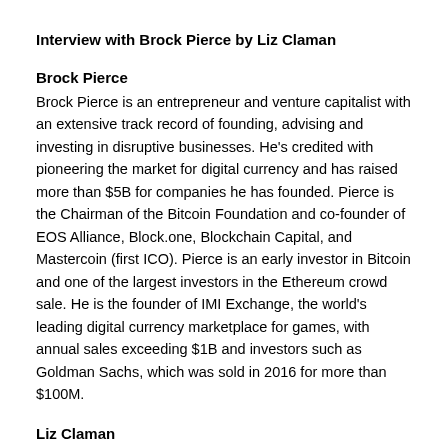Interview with Brock Pierce by Liz Claman
Brock Pierce
Brock Pierce is an entrepreneur and venture capitalist with an extensive track record of founding, advising and investing in disruptive businesses. He's credited with pioneering the market for digital currency and has raised more than $5B for companies he has founded. Pierce is the Chairman of the Bitcoin Foundation and co-founder of EOS Alliance, Block.one, Blockchain Capital, and Mastercoin (first ICO). Pierce is an early investor in Bitcoin and one of the largest investors in the Ethereum crowd sale. He is the founder of IMI Exchange, the world's leading digital currency marketplace for games, with annual sales exceeding $1B and investors such as Goldman Sachs, which was sold in 2016 for more than $100M.
Liz Claman
Veteran business broadcaster, Liz Claman, has reported on